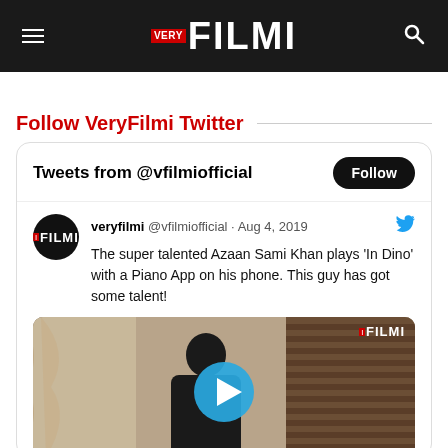VERY FILMI
Follow VeryFilmi Twitter
Tweets from @vfilmiofficial
veryfilmi @vfilmiofficial · Aug 4, 2019
The super talented Azaan Sami Khan plays 'In Dino' with a Piano App on his phone. This guy has got some talent!
[Figure (screenshot): Video thumbnail showing a person at a piano with VeryFilmi watermark and a play button overlay]